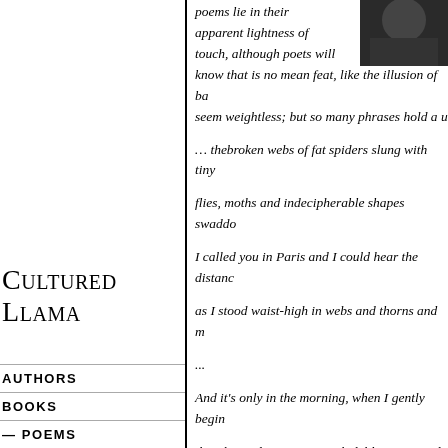[Figure (photo): Black and white photo of a person, partially visible in top right corner]
poems lie in their apparent lightness of touch, although poets will know that is no mean feat, like the illusion of ba seem weightless; but so many phrases hold a u
… thebroken webs of fat spiders slung with tiny
flies, moths and indecipherable shapes swadde
I called you in Paris and I could hear the distan
as I stood waist-high in webs and thorns and m
...
And it's only in the morning, when I gently begin
that the spider emerges with deliberation and to
pin-thin legs stained scarlet, its mottled thorax s
shuddering as it falls trying to climb the slippery
to escape that autumn-cold heap of fragrant, bl
Cultured Llama
AUTHORS
BOOKS
— POEMS